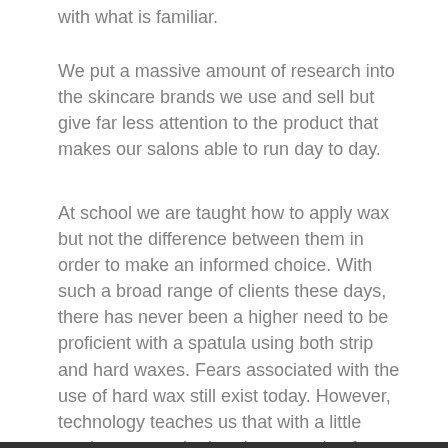with what is familiar.
We put a massive amount of research into the skincare brands we use and sell but give far less attention to the product that makes our salons able to run day to day.
At school we are taught how to apply wax but not the difference between them in order to make an informed choice. With such a broad range of clients these days, there has never been a higher need to be proficient with a spatula using both strip and hard waxes. Fears associated with the use of hard wax still exist today. However, technology teaches us that with a little product research, there’s no need to fear.